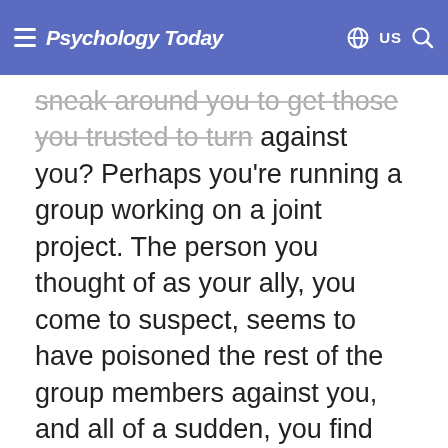Psychology Today | US
sneak around you to get those you trusted to turn against you? Perhaps you're running a group working on a joint project. The person you thought of as your ally, you come to suspect, seems to have poisoned the rest of the group members against you, and all of a sudden, you find yourself being ousted.
ARTICLE CONTINUES AFTER ADVERTISEMENT